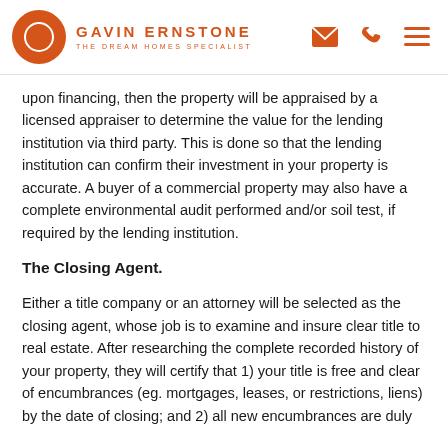GAVIN ERNSTONE THE DREAM HOMES SPECIALIST
upon financing, then the property will be appraised by a licensed appraiser to determine the value for the lending institution via third party. This is done so that the lending institution can confirm their investment in your property is accurate. A buyer of a commercial property may also have a complete environmental audit performed and/or soil test, if required by the lending institution.
The Closing Agent.
Either a title company or an attorney will be selected as the closing agent, whose job is to examine and insure clear title to real estate. After researching the complete recorded history of your property, they will certify that 1) your title is free and clear of encumbrances (eg. mortgages, leases, or restrictions, liens) by the date of closing; and 2) all new encumbrances are duly